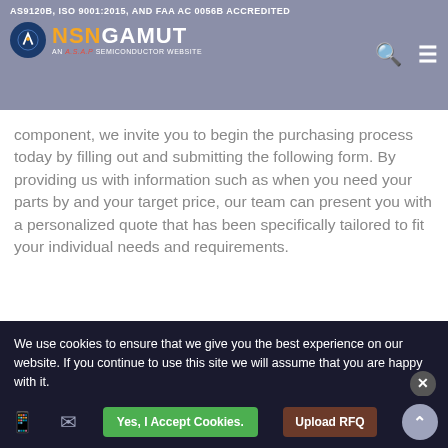AS9120B, ISO 9001:2015, AND FAA AC 0056B ACCREDITED
[Figure (logo): NSN Gamut logo - circular blue icon with rocket/arrow, orange NSN text, white GAMUT text, subtitle AN A.S.A.P SEMICONDUCTOR WEBSITE]
component, we invite you to begin the purchasing process today by filling out and submitting the following form. By providing us with information such as when you need your parts by and your target price, our team can present you with a personalized quote that has been specifically tailored to fit your individual needs and requirements.
PRODUCT DETAILS
"*" Required Fields Are Compulsory
We use cookies to ensure that we give you the best experience on our website. If you continue to use this site we will assume that you are happy with it.
Enter Mfg Part Number
101TL28